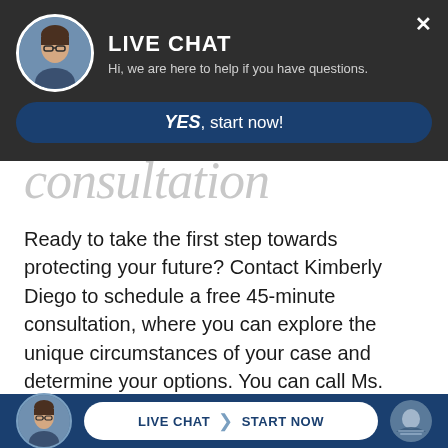[Figure (screenshot): Live chat popup overlay with avatar photo of woman with glasses, title LIVE CHAT, subtitle Hi we are here to help if you have questions, and a YES start now button on dark background]
consultation
Ready to take the first step towards protecting your future? Contact Kimberly Diego to schedule a free 45-minute consultation, where you can explore the unique circumstances of your case and determine your options. You can call Ms. Diego via phone at 720-257-5346, or simply fill out a free case review form to have a representative from the Law Office of Kimberly Diego contact
[Figure (screenshot): Bottom live chat bar with avatar, LIVE CHAT START NOW button, and logo on dark blue background]